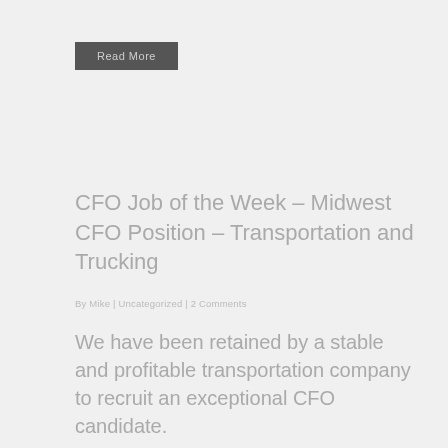Read More
CFO Job of the Week – Midwest CFO Position – Transportation and Trucking
By Mike | Uncategorized | 2 Comments
We have been retained by a stable and profitable transportation company to recruit an exceptional CFO candidate.